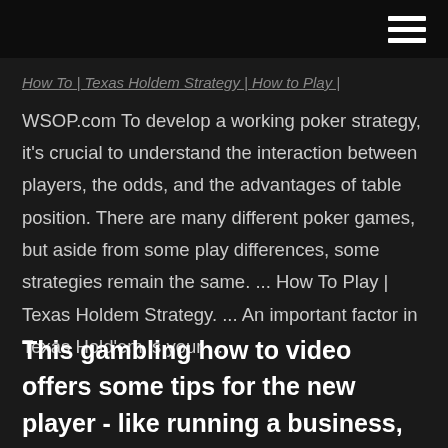[truncated: How To | Texas Holdem Strategy | How to Play |]
WSOP.com To develop a working poker strategy, it's crucial to understand the interaction between players, the odds, and the advantages of table position. There are many different poker games, but aside from some play differences, some strategies remain the same. ... How To Play | Texas Holdem Strategy. ... An important factor in Texas Hold'em is your ...
This gambling how to video offers some tips for the new player - like running a business, knowing the best hand at the table, the nuts, and betting strategy. Knowing how to invest in good cards and how to determine the best hand on the